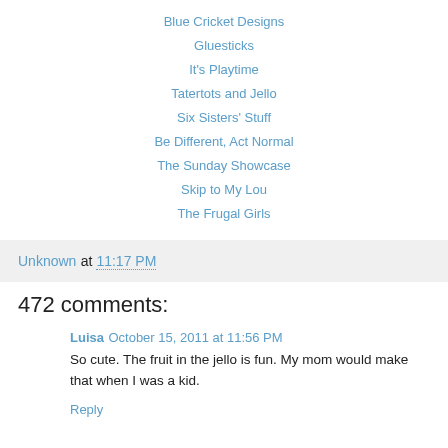Blue Cricket Designs
Gluesticks
It's Playtime
Tatertots and Jello
Six Sisters' Stuff
Be Different, Act Normal
The Sunday Showcase
Skip to My Lou
The Frugal Girls
Unknown at 11:17 PM
472 comments:
Luisa October 15, 2011 at 11:56 PM
So cute. The fruit in the jello is fun. My mom would make that when I was a kid.
Reply